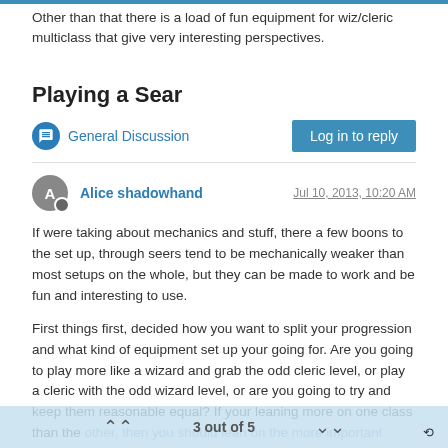Other than that there is a load of fun equipment for wiz/cleric multiclass that give very interesting perspectives.
Playing a Sear
General Discussion
Log in to reply
Alice shadowhand
Jul 10, 2013, 10:20 AM
If were taking about mechanics and stuff, there a few boons to the set up, through seers tend to be mechanically weaker than most setups on the whole, but they can be made to work and be fun and interesting to use.
First things first, decided how you want to split your progression and what kind of equipment set up your going for. Are you going to play more like a wizard and grab the odd cleric level, or play a cleric with the odd wizard level, or are you going to try and keep them reasonable equal? If your leaning more on one class than the other, then you should lean on the more important caster stat and play style.
3 out of 5